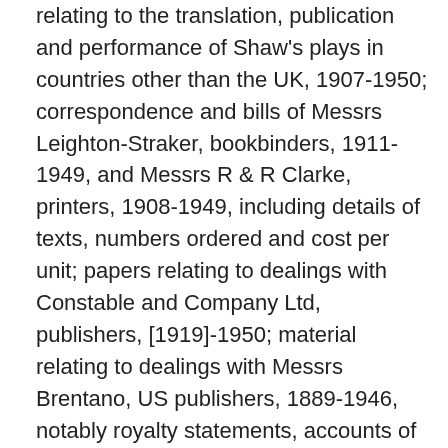relating to the translation, publication and performance of Shaw's plays in countries other than the UK, 1907-1950; correspondence and bills of Messrs Leighton-Straker, bookbinders, 1911-1949, and Messrs R & R Clarke, printers, 1908-1949, including details of texts, numbers ordered and cost per unit; papers relating to dealings with Constable and Company Ltd, publishers, [1919]-1950; material relating to dealings with Messrs Brentano, US publishers, 1889-1946, notably royalty statements, accounts of sales, copyright agreements, and other material related to the publication of Shaw's plays and literary works in the USA; correspondence between Shaw and Paul Reynolds, his literary agent in the USA, 1907-1922, including details of payments made to Shaw for various articles, the serialisation of his plays in magazines, and copyright details; correspondence